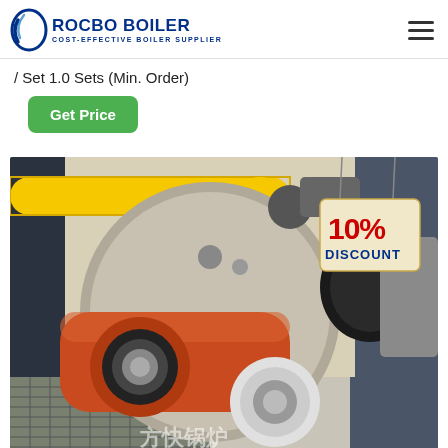ROCBO BOILER — COST-EFFECTIVE BOILER SUPPLIER
/ Set 1.0 Sets (Min. Order)
Get Price
[Figure (photo): Industrial boiler burner unit with orange and black components, yellow gas pipe on top, grey boiler body, and a 10% DISCOUNT badge in the top right corner. Chinese characters visible at the bottom.]